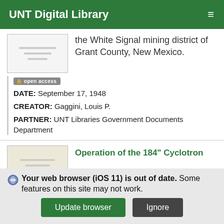UNT Digital Library
the White Signal mining district of Grant County, New Mexico.
open access
DATE: September 17, 1948
CREATOR: Gaggini, Louis P.
PARTNER: UNT Libraries Government Documents Department
Operation of the 184" Cyclotron
Your web browser (iOS 11) is out of date. Some features on this site may not work.
Update browser
Ignore